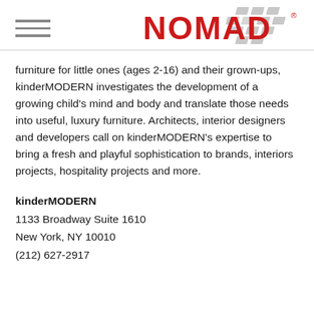[Figure (logo): NOMAD logo in red bold letters with a grey diamond/rhombus geometric pattern to the right]
furniture for little ones (ages 2-16) and their grown-ups, kinderMODERN investigates the development of a growing child's mind and body and translate those needs into useful, luxury furniture. Architects, interior designers and developers call on kinderMODERN's expertise to bring a fresh and playful sophistication to brands, interiors projects, hospitality projects and more.
kinderMODERN
1133 Broadway Suite 1610
New York, NY 10010
(212) 627-2917